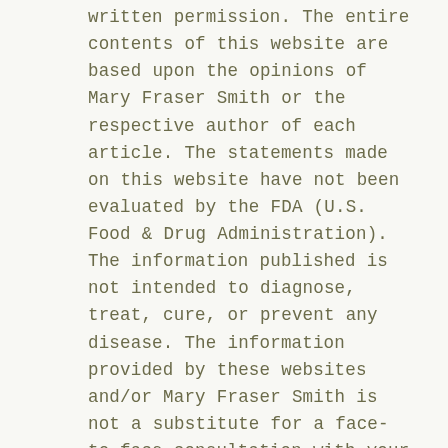written permission. The entire contents of this website are based upon the opinions of Mary Fraser Smith or the respective author of each article. The statements made on this website have not been evaluated by the FDA (U.S. Food & Drug Administration). The information published is not intended to diagnose, treat, cure, or prevent any disease. The information provided by these websites and/or Mary Fraser Smith is not a substitute for a face-to-face consultation with your physician, and should not be construed as individual medical advice. It is intended as a sharing of knowledge and information from the research and experience of Mary Fraser Smith. You are encouraged to make your own health care decisions based upon your research